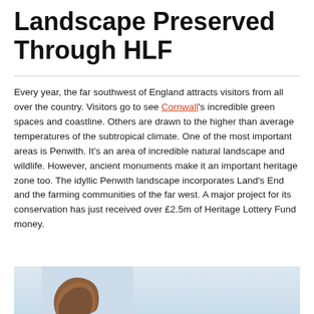Landscape Preserved Through HLF
Every year, the far southwest of England attracts visitors from all over the country. Visitors go to see Cornwall's incredible green spaces and coastline. Others are drawn to the higher than average temperatures of the subtropical climate. One of the most important areas is Penwith. It's an area of incredible natural landscape and wildlife. However, ancient monuments make it an important heritage zone too. The idyllic Penwith landscape incorporates Land's End and the farming communities of the far west. A major project for its conservation has just received over £2.5m of Heritage Lottery Fund money.
[Figure (photo): A dark reddish-brown standing stone or boulder against a pale blue sky background, partially visible at the bottom of the page.]